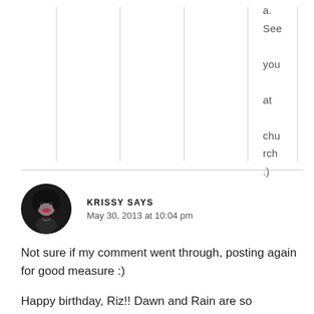a. See you at church :)
KRISSY SAYS
May 30, 2013 at 10:04 pm
Not sure if my comment went through, posting again for good measure :)
Happy birthday, Riz!! Dawn and Rain are so